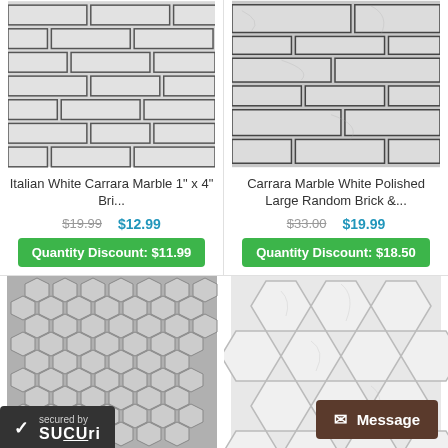[Figure (photo): Italian White Carrara Marble brick tile mosaic pattern, gray/white horizontal bricks with dark grout]
Italian White Carrara Marble 1" x 4" Bri...
$19.99  $12.99
Quantity Discount: $11.99
[Figure (photo): Carrara Marble White Polished Large Random Brick tile pattern, gray/white varied length horizontal bricks]
Carrara Marble White Polished Large Random Brick &...
$33.00  $19.99
Quantity Discount: $18.50
[Figure (photo): Small hexagon mosaic tile pattern in gray marble, dense small hexagons]
[Figure (photo): Large hexagon mosaic tile pattern in white Carrara marble]
secured by Sucuri
Message